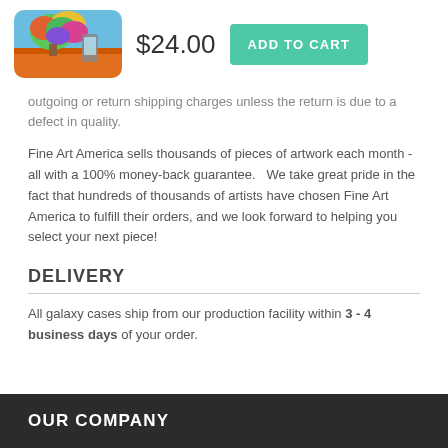[Figure (photo): Colorful tree artwork phone case product image]
$24.00
ADD TO CART
outgoing or return shipping charges unless the return is due to a defect in quality.
Fine Art America sells thousands of pieces of artwork each month - all with a 100% money-back guarantee.   We take great pride in the fact that hundreds of thousands of artists have chosen Fine Art America to fulfill their orders, and we look forward to helping you select your next piece!
DELIVERY
All galaxy cases ship from our production facility within 3 - 4 business days of your order.
OUR COMPANY